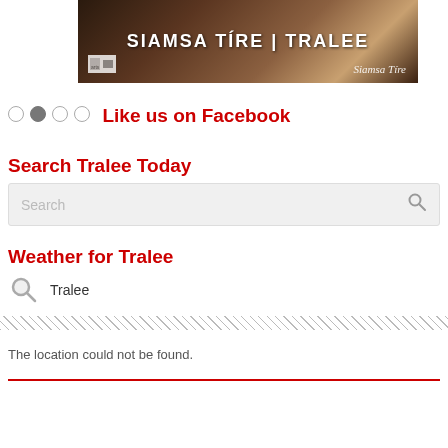[Figure (photo): Banner image for Siamsa Tire | Tralee with text overlay and logo]
[Figure (other): Carousel navigation dots, second dot active]
Like us on Facebook
Search Tralee Today
[Figure (screenshot): Search input box with placeholder text 'Search' and search icon]
Weather for Tralee
[Figure (screenshot): Weather search widget showing search icon and 'Tralee' text, hatched divider, error message 'The location could not be found.']